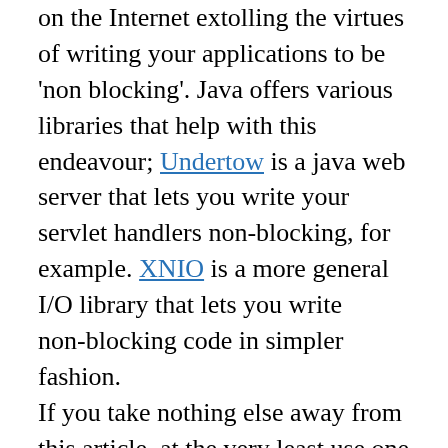on the Internet extolling the virtues of writing your applications to be 'non blocking'. Java offers various libraries that help with this endeavour; Undertow is a java web server that lets you write your servlet handlers non-blocking, for example. XNIO is a more general I/O library that lets you write non-blocking code in simpler fashion. If you take nothing else away from this article, at the very least use one of those libraries to do your non-blocking work. But the real point is: don't write non-blocking code. That's right: Don't write non-blocking code. It's not worth it. You're using Java, it ships with a garbage collector. Going non-blocking is like